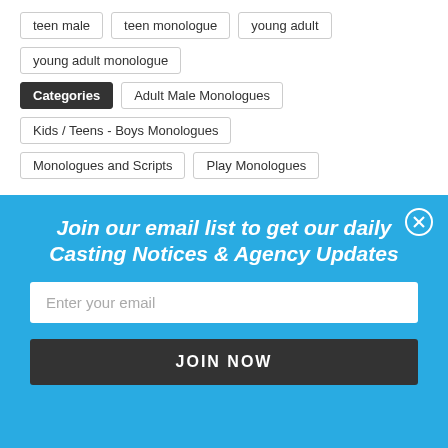teen male
teen monologue
young adult
young adult monologue
Categories
Adult Male Monologues
Kids / Teens - Boys Monologues
Monologues and Scripts
Play Monologues
Join our email list to get our daily Casting Notices & Agency Updates
Enter your email
JOIN NOW